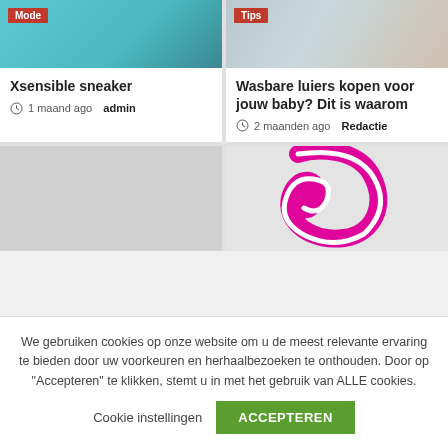[Figure (photo): Top-left card image with teal/blue background and Mode badge]
Xsensible sneaker
1 maand ago  admin
[Figure (photo): Top-right card image with Tips badge, person walking]
Wasbare luiers kopen voor jouw baby? Dit is waarom
2 maanden ago  Redactie
[Figure (photo): Bottom-left card image placeholder, gray]
[Figure (illustration): Bottom-right card image with pink/magenta logo mark shape]
We gebruiken cookies op onze website om u de meest relevante ervaring te bieden door uw voorkeuren en herhaalbezoeken te onthouden. Door op "Accepteren" te klikken, stemt u in met het gebruik van ALLE cookies.
Cookie instellingen  ACCEPTEREN